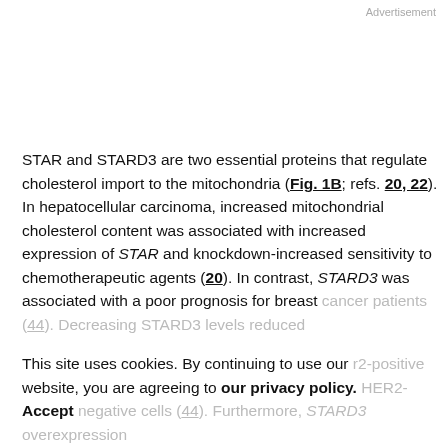Advertisement
STAR and STARD3 are two essential proteins that regulate cholesterol import to the mitochondria (Fig. 1B; refs. 20, 22). In hepatocellular carcinoma, increased mitochondrial cholesterol content was associated with increased expression of STAR and knockdown-increased sensitivity to chemotherapeutic agents (20). In contrast, STARD3 was associated with a poor prognosis for breast cancer patients (44). Decreasing STARD3 levels reduced [faded text] HER2-positive breast cancer cell lines while it was ineffective in HER2-negative cells (44). Furthermore, STARD3 overexpression
This site uses cookies. By continuing to use our website, you are agreeing to our privacy policy. Accept